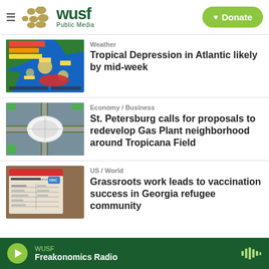WUSF Public Media — Donate
[Figure (screenshot): Weather map showing Atlantic tropical system with blue ocean background and red oval storm indicator]
Weather
Tropical Depression in Atlantic likely by mid-week
[Figure (photo): Aerial view of Tropicana Field stadium and surrounding Gas Plant neighborhood in St. Petersburg]
Economy / Business
St. Petersburg calls for proposals to redevelop Gas Plant neighborhood around Tropicana Field
[Figure (photo): COVID-19 Vaccination Record Card from CDC lying on a surface]
US / World
Grassroots work leads to vaccination success in Georgia refugee community
WUSF — Freakonomics Radio